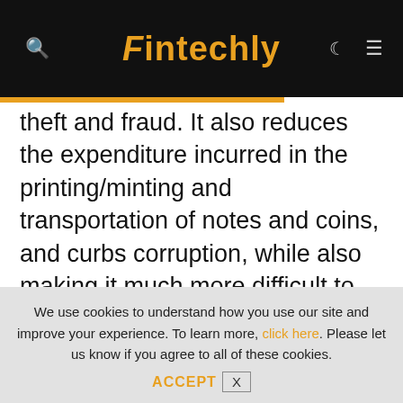Fintechly
theft and fraud. It also reduces the expenditure incurred in the printing/minting and transportation of notes and coins, and curbs corruption, while also making it much more difficult to conduct money laundering. With the growth of technology and a population that is able to easily adapt to digital platforms, going cashless can also help the unbanked and underbanked access eCommerce and digital
We use cookies to understand how you use our site and improve your experience. To learn more, click here. Please let us know if you agree to all of these cookies. ACCEPT X